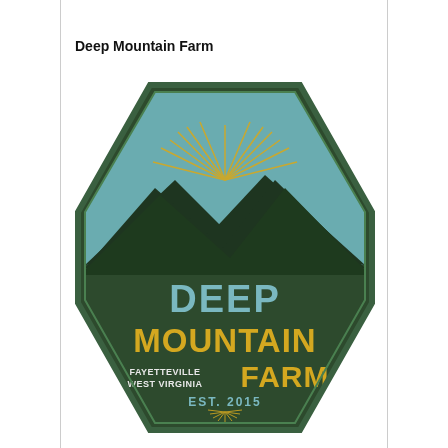Deep Mountain Farm
[Figure (logo): Deep Mountain Farm logo: hexagonal badge with dark green background, teal upper section showing mountain silhouette with sunburst rays in yellow/gold, text 'DEEP MOUNTAIN FARM' in yellow and light blue, 'FAYETTEVILLE WEST VIRGINIA' in white, 'EST. 2015' in light blue, decorative sunburst at bottom.]